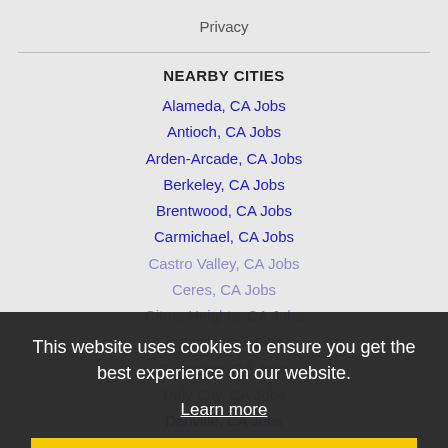Privacy
NEARBY CITIES
Alameda, CA Jobs
Antioch, CA Jobs
Arden-Arcade, CA Jobs
Berkeley, CA Jobs
Brentwood, CA Jobs
Carmichael, CA Jobs
Castro Valley, CA Jobs
Ceres, CA Jobs
Citrus Heights, CA Jobs
Danville, CA Jobs
Cupertino, CA Jobs
Daly City, CA Jobs
Danville, CA Jobs
Davis, CA Jobs
This website uses cookies to ensure you get the best experience on our website.
Learn more
Got it!